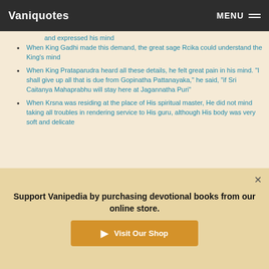Vaniquotes | MENU
and expressed his mind
When King Gadhi made this demand, the great sage Rcika could understand the King's mind
When King Prataparudra heard all these details, he felt great pain in his mind. "I shall give up all that is due from Gopinatha Pattanayaka," he said, "if Sri Caitanya Mahaprabhu will stay here at Jagannatha Puri"
When Krsna was residing at the place of His spiritual master, He did not mind taking all troubles in rendering service to His guru, although His body was very soft and delicate
Support Vanipedia by purchasing devotional books from our online store.
Visit Our Shop